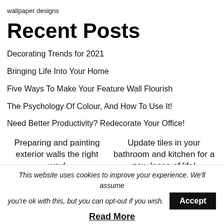wallpaper designs
Recent Posts
Decorating Trends for 2021
Bringing Life Into Your Home
Five Ways To Make Your Feature Wall Flourish
The Psychology Of Colour, And How To Use It!
Need Better Productivity? Redecorate Your Office!
Preparing and painting exterior walls the right way!
Update tiles in your bathroom and kitchen for a new lease of life!
This website uses cookies to improve your experience. We'll assume you're ok with this, but you can opt-out if you wish. Accept
Read More